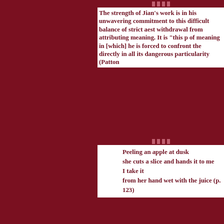The strength of Jian's work is in his unwavering commitment to this difficult balance of strict aesthetic withdrawal from attributing meaning. It is "this presence of meaning in [which] he is forced to confront the world directly in all its dangerous particularity (Patton
Peeling an apple at dusk
she cuts a slice and hands it to me
I take it
from her hand wet with the juice (p. 123)
It is impossible not to feel, in this short piece, this observation of one short moment, a greater, universal tension, though Jian has only recorded the event with strictest objectivity. We are at once reminded of, and give ourselves permission to disabuse ourselves before reminded of, the work of William Carlos Williams. Jian's dedication, as it was with Williams, to record the event, to capture the "thingness" of that which he is observer and participant that the revelatory experience has given rise: taint the image with more illusory language and the tension inherent in the action is lost.